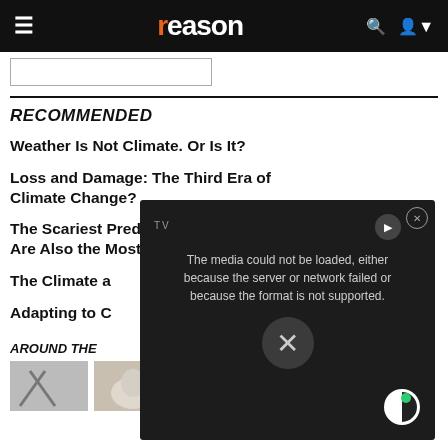reason
RECOMMENDED
Weather Is Not Climate. Or Is It?
Loss and Damage: The Third Era of Climate Change?
The Scariest Predictions in the New U.N. Climate Report Are Also the Most Unlikely
The Climate a[...]
Adapting to C[...]
AROUND THE [WEB]
[Figure (screenshot): Video player overlay showing error message: The media could not be loaded, either because the server or network failed or because the format is not supported. With a circular close button and X dismiss button.]